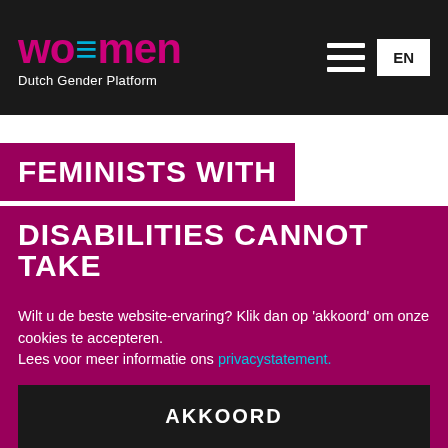wo=men Dutch Gender Platform | EN
FEMINISTS WITH DISABILITIES CANNOT TAKE THE FLOOR AT THE
Wilt u de beste website-ervaring? Klik dan op 'akkoord' om onze cookies te accepteren.
Lees voor meer informatie ons privacystatement.
AKKOORD